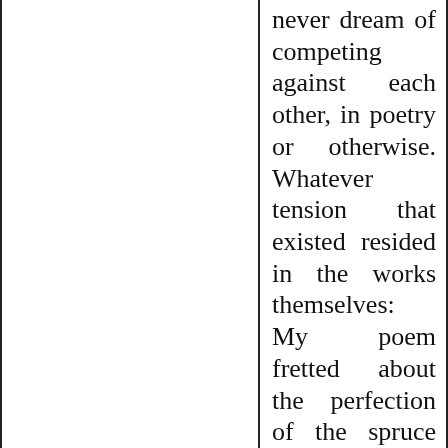never dream of competing against each other, in poetry or otherwise. Whatever tension that existed resided in the works themselves: My poem fretted about the perfection of the spruce (or pine or whatever I might call it), which was so